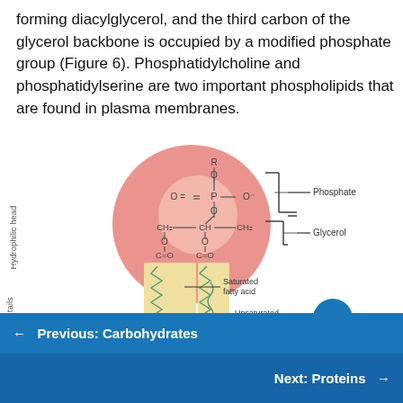forming diacylglycerol, and the third carbon of the glycerol backbone is occupied by a modified phosphate group (Figure 6). Phosphatidylcholine and phosphatidylserine are two important phospholipids that are found in plasma membranes.
[Figure (illustration): Diagram of a phospholipid molecule showing the hydrophilic head (containing a phosphate group and glycerol backbone with labeled chemical structure) and hydrophobic tails (a saturated fatty acid and an unsaturated fatty acid). The head region is depicted as a large salmon-colored sphere with chemical bonds shown. Labels point to Phosphate, Glycerol, Saturated fatty acid, and Unsaturated fatty acid. Side labels read 'Hydrophilic head' and 'phobic tails' (partially cut off).]
← Previous: Carbohydrates
Next: Proteins →